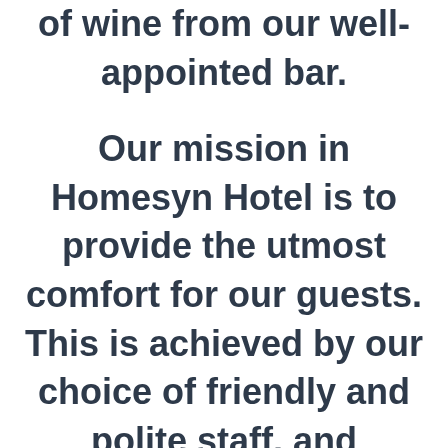of wine from our well-appointed bar.

Our mission in Homesyn Hotel is to provide the utmost comfort for our guests. This is achieved by our choice of friendly and polite staff, and cleanliness in a home feeling